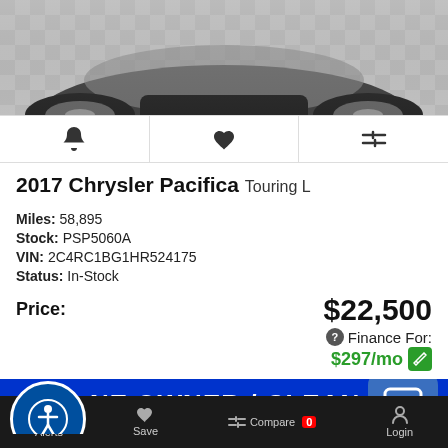[Figure (photo): Partial front view of a silver/gray Chrysler Pacifica minivan on a checkered studio floor]
🔔  ♥  ⇌ (action icons row: alert, save, compare)
2017 Chrysler Pacifica Touring L
Miles: 58,895
Stock: PSP5060A
VIN: 2C4RC1BG1HR524175
Status: In-Stock
Price: $22,500
Finance For: $297/mo
[Figure (screenshot): Blue banner reading: ONE OWNER / CLEAN CAR with accessibility icon on left and chat button on right]
Alerts  Save  Compare 0  Login